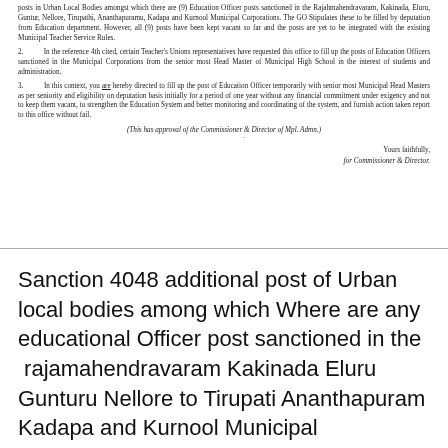posts in Urban Local Bodies amongst which there are (9) Education Officer posts sanctioned in the Rajahmahendravaram, Kakinada, Eluru, Guntur, Nellore, Tirupathi, Ananthapuramu, Kadapa and Kurnool Municipal Corporations. The GO Stipulates these to be filled by deputation from Education department. However, all (9) posts have been kept vacant so far and the posts are yet to be integrated with the existing Municipal Teacher Service Rules.
2. In the reference 4th cited, certain Teacher's Unions representatives have requested this office to fill up the posts of Education Officers sanctioned in the Municipal Corporations from the senior most Head Master of Municipal High School in the interest of students and administration.
3. In this context, you are hereby directed to fill up the post of Education Officer temporarily with senior most Municipal Head Masters as per seniority and eligibility on deputation basis initially for a period of one year without any financial commitment under exigency and not to keep them vacant, to strengthen the Education System and better monitoring and coordinating of the system, and furnish action taken report to this office without fail.
(This has approval of the Commissioner & Director of Mpl. Admn.)
Yours faithfully,
for Commissioner & Director.
Sanction 4048 additional post of Urban local bodies among which Where are any educational Officer post sanctioned in the rajamahendravaram Kakinada Eluru Gunturu Nellore to Tirupati Ananthapuram Kadapa and Kurnool Municipal corporations in the reference teachers